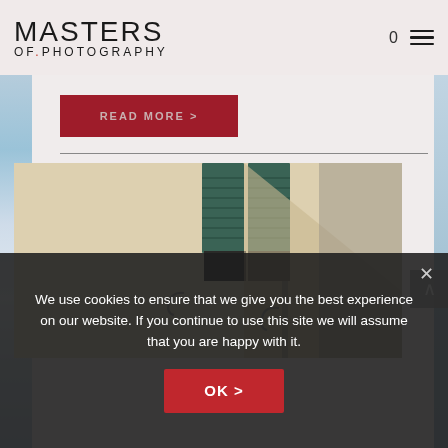[Figure (logo): Masters of Photography logo — large sans-serif text 'MASTERS' above 'OF.PHOTOGRAPHY' with red dot]
0
READ MORE >
[Figure (photo): Photograph of a building exterior with green shuttered window, beige/tan wall, strong shadows, partially obscured by dark overlay at bottom]
We use cookies to ensure that we give you the best experience on our website. If you continue to use this site we will assume that you are happy with it.
OK >